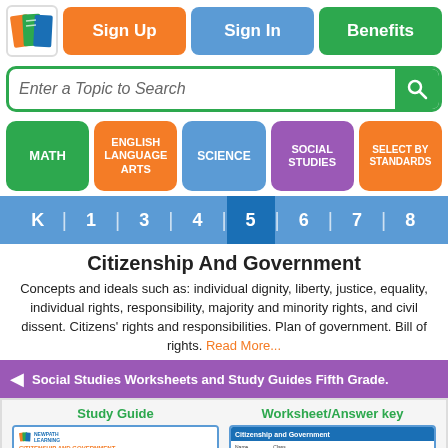Sign Up | Sign In | Benefits
Enter a Topic to Search
MATH | ENGLISH LANGUAGE ARTS | SCIENCE | SOCIAL STUDIES | SELECT BY STANDARDS
K | 1 | 3 | 4 | 5 | 6 | 7 | 8
Citizenship And Government
Concepts and ideals such as: individual dignity, liberty, justice, equality, individual rights, responsibility, majority and minority rights, and civil dissent. Citizens' rights and responsibilities. Plan of government. Bill of rights. Read More...
Social Studies Worksheets and Study Guides Fifth Grade.
Study Guide
CITIZENSHIP AND GOVERNMENT
Worksheet/Answer key